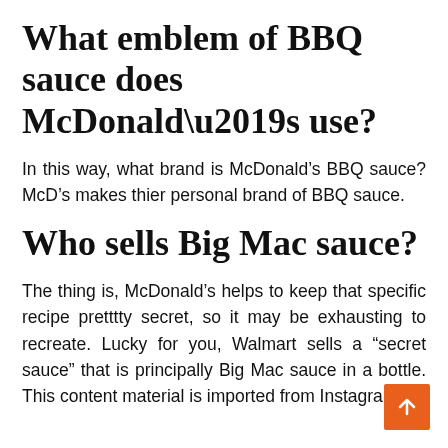What emblem of BBQ sauce does McDonald’s use?
In this way, what brand is McDonald’s BBQ sauce? McD’s makes thier personal brand of BBQ sauce.
Who sells Big Mac sauce?
The thing is, McDonald’s helps to keep that specific recipe pretttty secret, so it may be exhausting to recreate. Lucky for you, Walmart sells a “secret sauce” that is principally Big Mac sauce in a bottle. This content material is imported from Instagram.